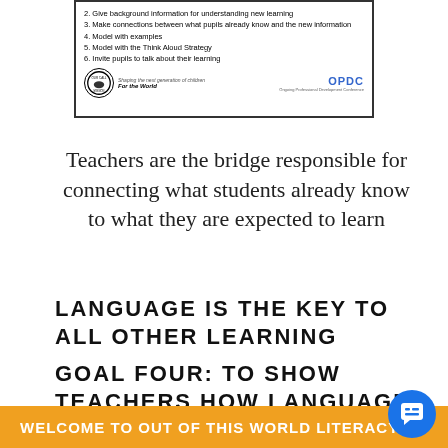[Figure (screenshot): A framed slide/handout image showing a numbered list of teaching strategies (items 2-6) with a circular logo on the left and OPDC branding at the bottom. Items include: 2. Give background information for understanding new learning, 3. Make connections between what pupils already know and the new information, 4. Model with examples, 5. Model with the Think Aloud Strategy, 6. Invite pupils to talk about their learning. Footer text: Shaping the next generation of children, For the World, OPDC, Ongoing Professional Development Conference.]
Teachers are the bridge responsible for connecting what students already know to what they are expected to learn
LANGUAGE IS THE KEY TO ALL OTHER LEARNING
GOAL FOUR: TO SHOW TEACHERS HOW LANGUAGE AND THE WRITTEN WORD ARE THE KEYS TO ALL OTHE...
WELCOME TO OUT OF THIS WORLD LITERACY